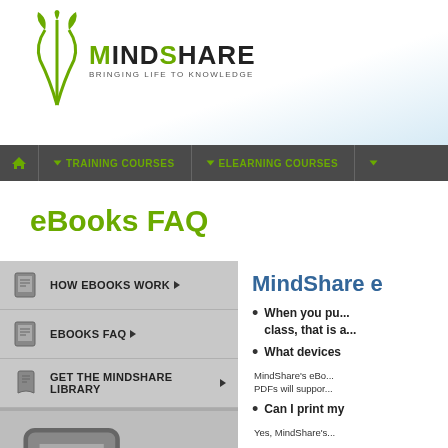[Figure (logo): MindShare logo with green plant/grass icon and text 'MindShare - Bringing Life to Knowledge']
TRAINING COURSES | eLEARNING COURSES
eBooks FAQ
HOW eBOOKS WORK
eBOOKS FAQ
Get the MindShare Library
View all Books + eBooks
Technical Titles
FireWire System Architecture (2nd Edition)
HyperTransport 3.1 Interconnect Technology
HyperTransport System Architecture
InfiniBand Network Architecture
ISA System Architecture (3rd Edition)
MindShare e
When you pu... class, that is a...
What devices
MindShare's eBo... PDFs will suppor...
Can I print my